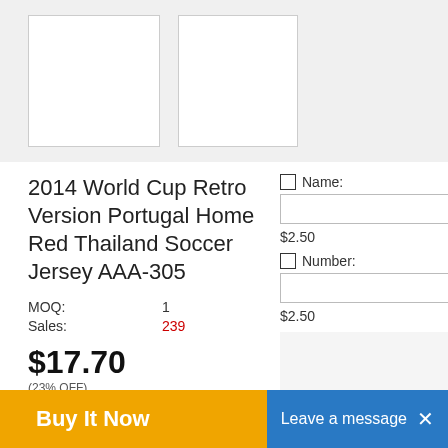[Figure (photo): Two white thumbnail image boxes on a light gray background]
2014 World Cup Retro Version Portugal Home Red Thailand Soccer Jersey AAA-305
MOQ: 1
Sales: 239
$17.70
(23% OFF)
(Only 38 days)
Name:
$2.50
Number:
$2.50
Buy It Now
Leave a message